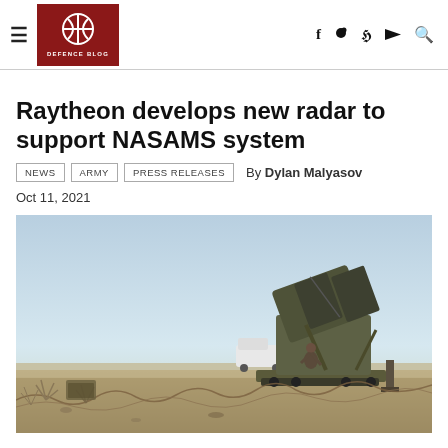Defence Blog
Raytheon develops new radar to support NASAMS system
NEWS   ARMY   PRESS RELEASES   By Dylan Malyasov
Oct 11, 2021
[Figure (photo): NASAMS surface-to-air missile launcher on a wheeled platform in a desert/arid environment, angled upward, with a person and a white vehicle visible in the background.]